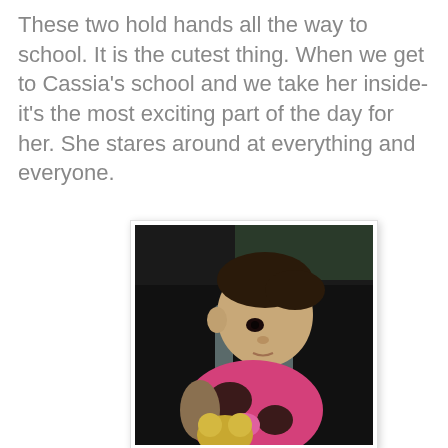These two hold hands all the way to school. It is the cutest thing. When we get to Cassia's school and we take her inside- it's the most exciting part of the day for her. She stares around at everything and everyone.
[Figure (photo): A young child sitting in a car seat, wearing a pink and brown floral patterned jacket, holding a small stuffed animal. The child is looking toward the camera with dark hair and dark eyes. The photo is taken inside a vehicle.]